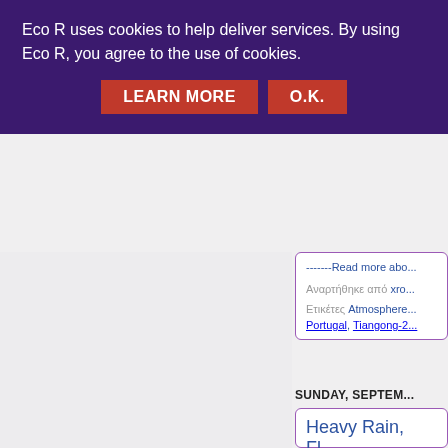Eco R uses cookies to help deliver services. By using Eco R, you agree to the use of cookies.
LEARN MORE   O.K.
-------Read more abo...
Αναρτήθηκε από xro...
Ετικέτες Atmosphere... Portugal, Tiangong-2...
SUNDAY, SEPTEM...
Heavy Rain, Fl...